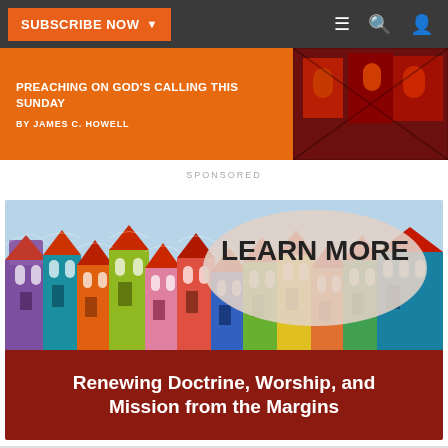SUBSCRIBE NOW
[Figure (screenshot): Article banner with orange background showing 'PREACHING ON GOD'S CALLING THIS SUNDAY by James C. Howell' and a stained glass image on the right]
SPONSORED
[Figure (infographic): Sponsored advertisement showing colorful illustrated houses/buildings with a 'LEARN MORE' bubble and title 'Renewing Doctrine, Worship, and Mission from the Margins' on a dark red banner]